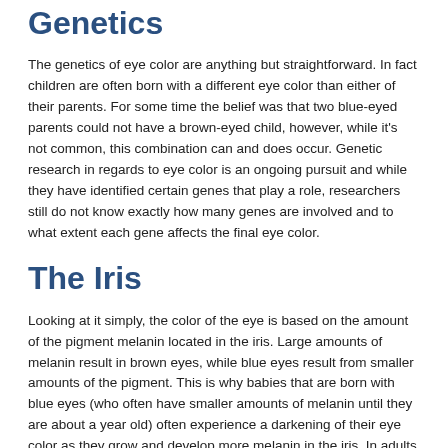Genetics
The genetics of eye color are anything but straightforward. In fact children are often born with a different eye color than either of their parents. For some time the belief was that two blue-eyed parents could not have a brown-eyed child, however, while it's not common, this combination can and does occur. Genetic research in regards to eye color is an ongoing pursuit and while they have identified certain genes that play a role, researchers still do not know exactly how many genes are involved and to what extent each gene affects the final eye color.
The Iris
Looking at it simply, the color of the eye is based on the amount of the pigment melanin located in the iris. Large amounts of melanin result in brown eyes, while blue eyes result from smaller amounts of the pigment. This is why babies that are born with blue eyes (who often have smaller amounts of melanin until they are about a year old) often experience a darkening of their eye color as they grow and develop more melanin in the iris. In adults across the globe, the most common eye color worldwide is